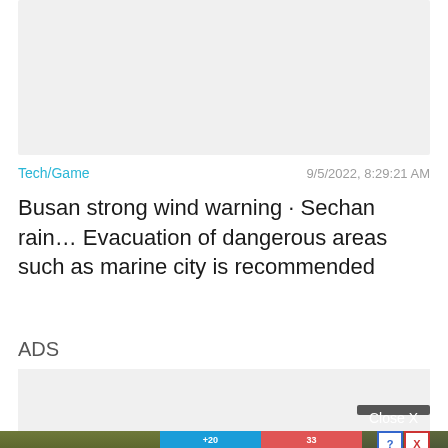[Figure (photo): Top image placeholder, light gray background]
Tech/Game   9/5/2022, 8:29:21 AM
Busan strong wind warning · Sechan rain… Evacuation of dangerous areas such as marine city is recommended
ADS
[Figure (screenshot): Advertisement placeholder with Close X button and Hold and Move game ad at bottom]